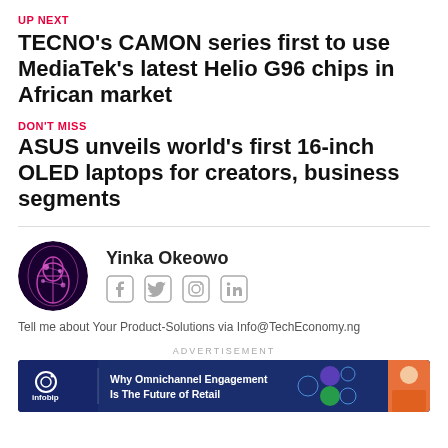UP NEXT
TECNO's CAMON series first to use MediaTek's latest Helio G96 chips in African market
DON'T MISS
ASUS unveils world's first 16-inch OLED laptops for creators, business segments
Yinka Okeowo
Tell me about Your Product-Solutions via Info@TechEconomy.ng
ADVERTISEMENT
[Figure (infographic): Infobip advertisement banner: Why Omnichannel Engagement Is The Future of Retail]